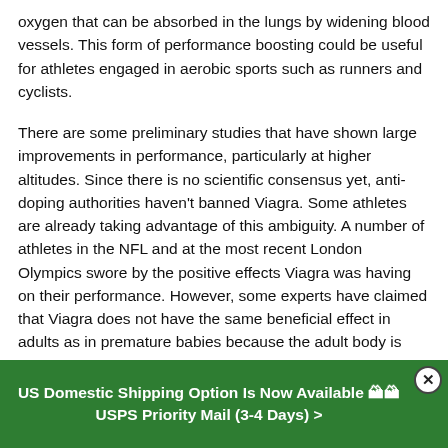oxygen that can be absorbed in the lungs by widening blood vessels. This form of performance boosting could be useful for athletes engaged in aerobic sports such as runners and cyclists.
There are some preliminary studies that have shown large improvements in performance, particularly at higher altitudes. Since there is no scientific consensus yet, anti-doping authorities haven't banned Viagra. Some athletes are already taking advantage of this ambiguity. A number of athletes in the NFL and at the most recent London Olympics swore by the positive effects Viagra was having on their performance. However, some experts have claimed that Viagra does not have the same beneficial effect in adults as in premature babies because the adult body is less sensitive to it.
US Domestic Shipping Option Is Now Available 🏁🏁 USPS Priority Mail (3-4 Days) >